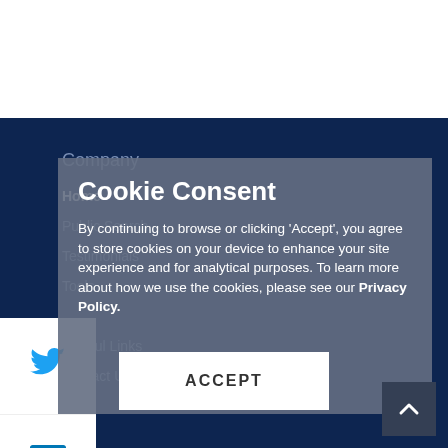Company
Home
Public Search
Testimonials
Tools
Helpful Links
Contact Us
Cookie Consent
By continuing to browse or clicking 'Accept', you agree to store cookies on your device to enhance your site experience and for analytical purposes. To learn more about how we use the cookies, please see our Privacy Policy.
[Figure (screenshot): ACCEPT button - white rectangular button with bold uppercase text]
[Figure (screenshot): Social media sharing sidebar with Twitter bird icon, LinkedIn 'in' icon, and Google+ icon]
[Figure (screenshot): Back to top arrow button, dark navy square with upward chevron]